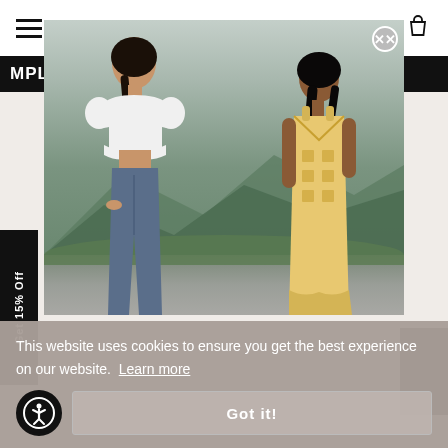Navigation bar with hamburger menu and shopping bag icon
MPLE SA
[Figure (photo): Fashion photo of two female models standing outdoors against a mountain/cloudy sky backdrop. Left model wears white puff-sleeve crop top and blue jeans; right model wears a patterned yellow mini dress.]
Get 15% Off
This website uses cookies to ensure you get the best experience on our website. Learn more
Got it!